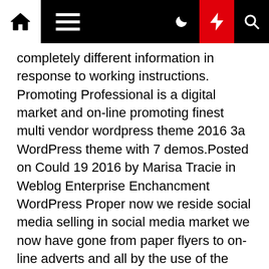Navigation bar with home, menu, moon, bolt, and search icons
completely different information in response to working instructions. Promoting Professional is a digital market and on-line promoting finest multi vendor wordpress theme 2016 3a WordPress theme with 7 demos.Posted on Could 19 2016 by Marisa Tracie in Weblog Enterprise Enchancment WordPress Proper now we reside social media selling in social media market we now have gone from paper flyers to on-line adverts and all by the use of the remaining yr on-line product product sales have skyrocketed on account of social media selling accessible to.
The B.F.A. in Inside Design is a tough course of study for school school college students getting ready themselves for a occupation in a self-self-self-discipline with monumental potentialities and potential. Persevering with education applications